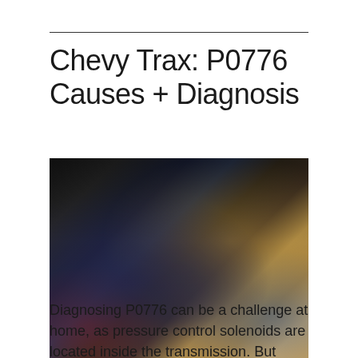Chevy Trax: P0776 Causes + Diagnosis
[Figure (photo): A mechanic or technician holding an automotive diagnostic scan tool / OBD scanner with a cracked or dirty screen, while connected to a vehicle. Another person is visible in the background.]
Diagnosing P0776 can be a challenge at home, as pressure control solenoids are located inside the transmission. But there